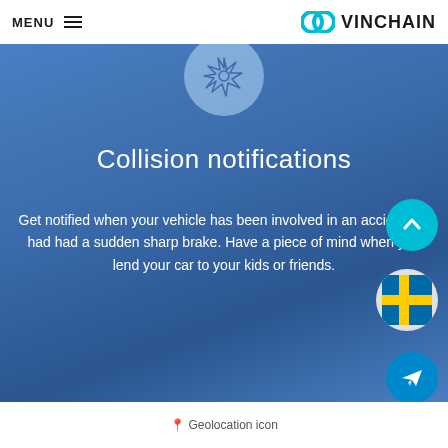MENU  ≡   VINCHAIN
[Figure (illustration): Collision/star burst icon in a light blue circle on a blue gradient background]
Collision notifications
Get notified when your vehicle has been involved in an accident or had had a sudden sharp brake. Have a piece of mind when you lend your car to your kids or friends.
[Figure (illustration): Cyan scroll-to-top arrow button circle, Swedish flag circle, and Telegram send button circle on the right side]
Geolocation icon